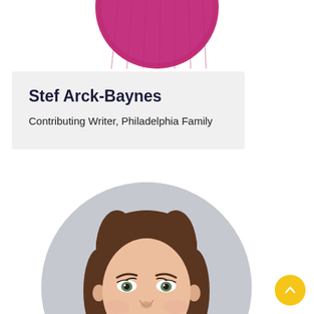[Figure (photo): Top portion of a circular profile photo showing a person wearing a pink/magenta knit hat, cropped at the top of the page]
Stef Arck-Baynes
Contributing Writer, Philadelphia Family
[Figure (photo): Circular profile photo of a smiling young woman with brown hair, green eyes, wearing a grey speckled cardigan, photographed against a light grey background]